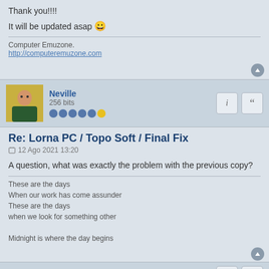Thank you!!!!
It will be updated asap 😀
Computer Emuzone.
http://computeremuzone.com
Neville
256 bits
Re: Lorna PC / Topo Soft / Final Fix
12 Ago 2021 13:20
A question, what was exactly the problem with the previous copy?
These are the days
When our work has come assunder
These are the days
when we look for something other

Midnight is where the day begins
dlfrsilver
8 bits